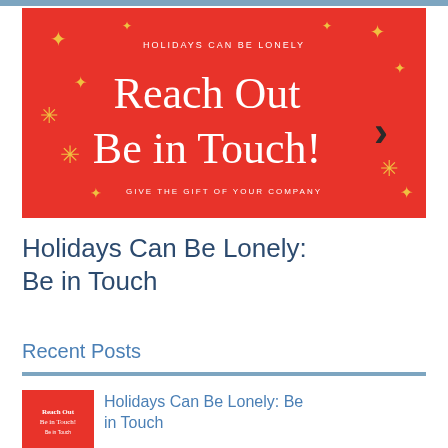[Figure (illustration): Red holiday banner with white serif text reading 'Reach Out Be in Touch!' with subtitle 'HOLIDAYS CAN BE LONELY' and tagline 'GIVE THE GIFT OF YOUR COMPANY', decorated with gold star/snowflake ornaments and a dark arrow chevron on right side]
Holidays Can Be Lonely: Be in Touch
Recent Posts
[Figure (photo): Small thumbnail image of the red holiday banner, showing 'Reach Out Be in Touch!' text in white on red background]
Holidays Can Be Lonely: Be in Touch